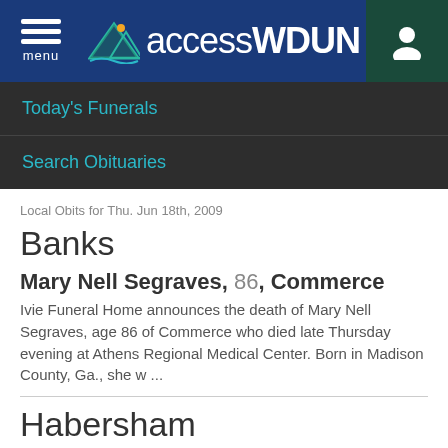accessWDUN — menu / user icon header
Today's Funerals
Search Obituaries
Local Obits for Thu. Jun 18th, 2009
Banks
Mary Nell Segraves, 86, Commerce
Ivie Funeral Home announces the death of Mary Nell Segraves, age 86 of Commerce who died late Thursday evening at Athens Regional Medical Center. Born in Madison County, Ga., she w ...
Habersham
Zora Mae Cragg Moore, 78, Mt. Airy
Zora Mae Cragg Moore, age 78 of Mt. Airy, passed away Thursday, June 18, 2009, at her residence